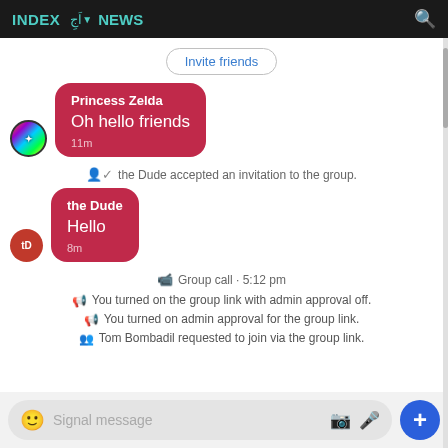INDEX  اَجِ▼  NEWS
Invite friends
Princess Zelda
Oh hello friends
11m
the Dude accepted an invitation to the group.
the Dude
Hello
8m
Group call · 5:12 pm
You turned on the group link with admin approval off.
You turned on admin approval for the group link.
Tom Bombadil requested to join via the group link.
Signal message